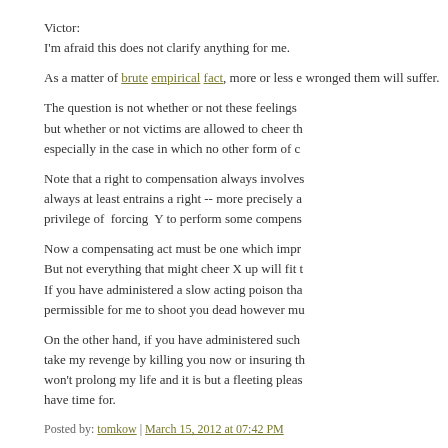Victor:
I'm afraid this does not clarify anything for me.
As a matter of brute empirical fact, more or less everyone who has wronged them will suffer.
The question is not whether or not these feelings are justified but whether or not victims are allowed to cheer them on, especially in the case in which no other form of co...
Note that a right to compensation always involves... always at least entrains a right -- more precisely a privilege of forcing Y to perform some compens...
Now a compensating act must be one which impr... But not everything that might cheer X up will fit t... If you have administered a slow acting poison tha... permissible for me to shoot you dead however mu...
On the other hand, if you have administered such ... take my revenge by killing you now or insuring th... won't prolong my life and it is but a fleeting pleas... have time for.
Posted by: tomkow | March 15, 2012 at 07:42 PM
Victor and Tomkow